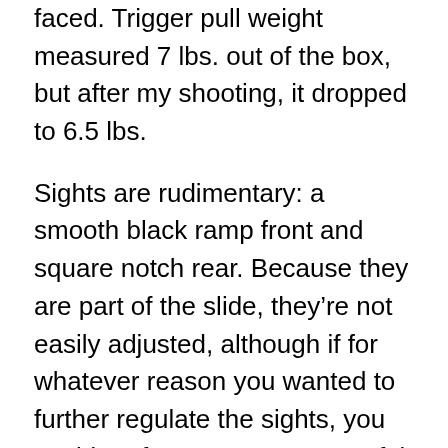faced. Trigger pull weight measured 7 lbs. out of the box, but after my shooting, it dropped to 6.5 lbs.
Sights are rudimentary: a smooth black ramp front and square notch rear. Because they are part of the slide, they’re not easily adjusted, although if for whatever reason you wanted to further regulate the sights, you could perform some very careful filing. (Note: Ruger now also offers the LC9 with the LaserMax Centerfire laser sight or the Crimson Trace Laserguard laser sight, both of which attach to the front strap or rear board) to the at to